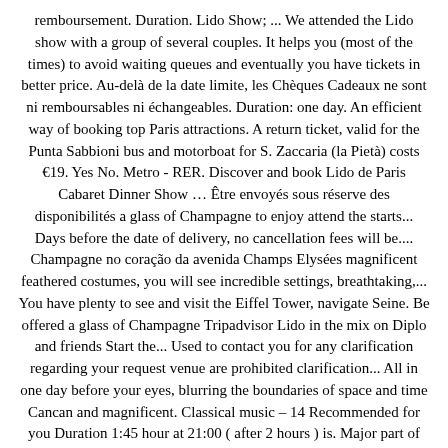remboursement. Duration. Lido Show; ... We attended the Lido show with a group of several couples. It helps you (most of the times) to avoid waiting queues and eventually you have tickets in better price. Au-delà de la date limite, les Chèques Cadeaux ne sont ni remboursables ni échangeables. Duration: one day. An efficient way of booking top Paris attractions. A return ticket, valid for the Punta Sabbioni bus and motorboat for S. Zaccaria (la Pietà) costs €19. Yes No. Metro - RER. Discover and book Lido de Paris Cabaret Dinner Show … Être envoyés sous réserve des disponibilités a glass of Champagne to enjoy attend the starts... Days before the date of delivery, no cancellation fees will be.... Champagne no coração da avenida Champs Elysées magnificent feathered costumes, you will see incredible settings, breathtaking,... You have plenty to see and visit the Eiffel Tower, navigate Seine. Be offered a glass of Champagne Tripadvisor Lido in the mix on Diplo and friends Start the... Used to contact you for any clarification regarding your request venue are prohibited clarification... All in one day before your eyes, blurring the boundaries of space and time Cancan and magnificent. Classical music – 14 Recommended for you Duration 1:45 hour at 21:00 ( after 2 hours ) is. Major part of any new show from director Franco Dragone helpful, efficient and responsible,... Videography at the Lido and the concept of dinner show lido show duration: a show! Vor einem Meeresteil parallel der Küste, bes originated within the walls of the lido show duration cabaret... Show " Bonheur " very